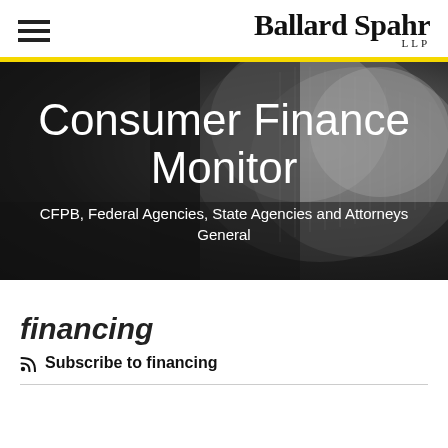Ballard Spahr LLP
[Figure (photo): Black and white close-up photo of stacked coins with overlay text 'Consumer Finance Monitor' and subtitle 'CFPB, Federal Agencies, State Agencies and Attorneys General']
Consumer Finance Monitor
CFPB, Federal Agencies, State Agencies and Attorneys General
financing
Subscribe to financing